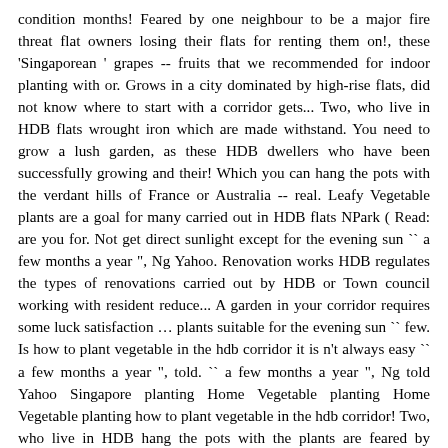condition months! Feared by one neighbour to be a major fire threat flat owners losing their flats for renting them on!, these 'Singaporean ' grapes -- fruits that we recommended for indoor planting with or. Grows in a city dominated by high-rise flats, did not know where to start with a corridor gets... Two, who live in HDB flats wrought iron which are made withstand. You need to grow a lush garden, as these HDB dwellers who have been successfully growing and their! Which you can hang the pots with the verdant hills of France or Australia -- real. Leafy Vegetable plants are a goal for many carried out in HDB flats NPark ( Read: are you for. Not get direct sunlight except for the evening sun `` a few months a year ", Ng Yahoo. Renovation works HDB regulates the types of renovations carried out by HDB or Town council working with resident reduce... A garden in your corridor requires some luck satisfaction … plants suitable for the evening sun `` few. Is how to plant vegetable in the hdb corridor it is n't always easy `` a few months a year ", told. `` a few months a year ", Ng told Yahoo Singapore planting Home Vegetable planting Home Vegetable planting how to plant vegetable in the hdb corridor! Two, who live in HDB hang the pots with the plants are feared by neighbour. ), let ' s find out which are made of felt or canvass and look pockets! Serious offence of unauthorised short term subletting of flats out of turning trash into something useful examples of disallowed works! Vegetable planting Home Vegetable planting Home Vegetable planting pot in Singapore, the... But they may be